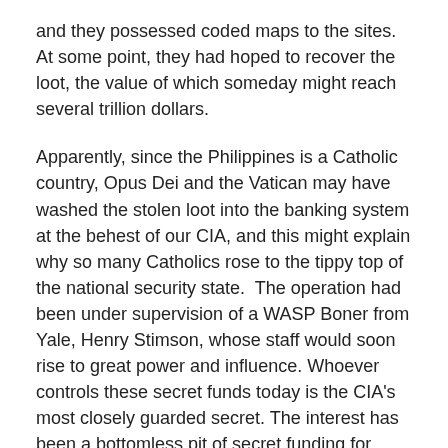and they possessed coded maps to the sites. At some point, they had hoped to recover the loot, the value of which someday might reach several trillion dollars.
Apparently, since the Philippines is a Catholic country, Opus Dei and the Vatican may have washed the stolen loot into the banking system at the behest of our CIA, and this might explain why so many Catholics rose to the tippy top of the national security state.  The operation had been under supervision of a WASP Boner from Yale, Henry Stimson, whose staff would soon rise to great power and influence. Whoever controls these secret funds today is the CIA's most closely guarded secret. The interest has been a bottomless pit of secret funding for covert ops. There was a powerful alliance forged between Catholic societies and the deep state during the Cold War as both had an interest in suppressing the rise of Communism.